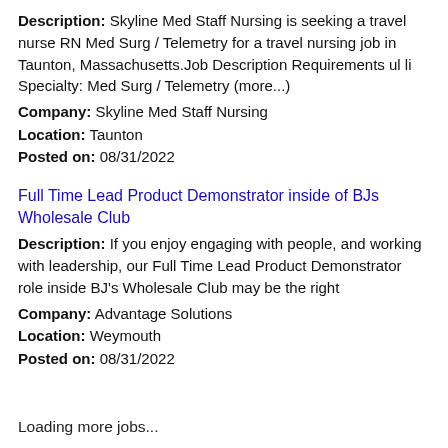Description: Skyline Med Staff Nursing is seeking a travel nurse RN Med Surg / Telemetry for a travel nursing job in Taunton, Massachusetts.Job Description Requirements ul li Specialty: Med Surg / Telemetry (more...)
Company: Skyline Med Staff Nursing
Location: Taunton
Posted on: 08/31/2022
Full Time Lead Product Demonstrator inside of BJs Wholesale Club
Description: If you enjoy engaging with people, and working with leadership, our Full Time Lead Product Demonstrator role inside BJ's Wholesale Club may be the right
Company: Advantage Solutions
Location: Weymouth
Posted on: 08/31/2022
Loading more jobs...
Log In or Create An Account
Username: